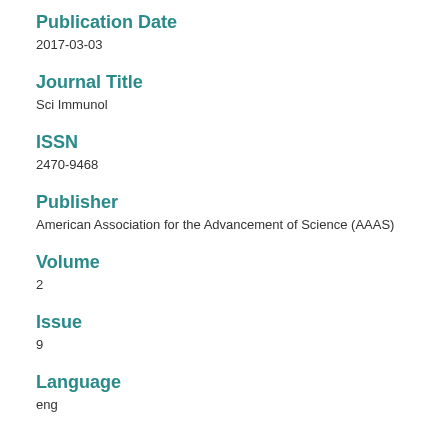Publication Date
2017-03-03
Journal Title
Sci Immunol
ISSN
2470-9468
Publisher
American Association for the Advancement of Science (AAAS)
Volume
2
Issue
9
Language
eng